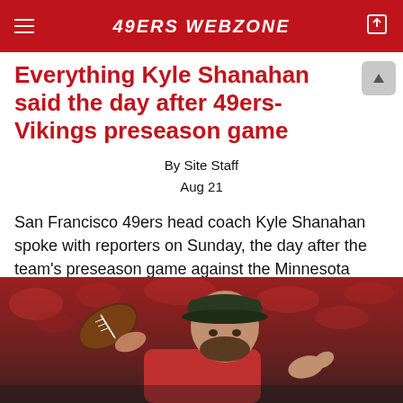49ERS WEBZONE
Everything Kyle Shanahan said the day after 49ers-Vikings preseason game
By Site Staff
Aug 21
San Francisco 49ers head coach Kyle Shanahan spoke with reporters on Sunday, the day after the team's preseason game against the Minnesota Vikings. Here is everything he had to say. Transcript provided by the
Read More
[Figure (photo): Photo of a man in a dark baseball cap throwing or holding a football, with a red blurred crowd in the background]